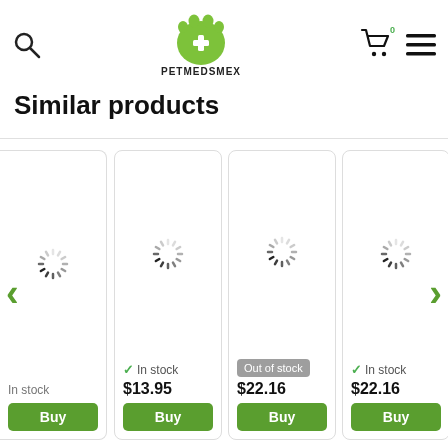PETMEDSMEX - search, cart, menu navigation
Similar products
[Figure (screenshot): Product card 1 (partial, left edge): loading spinner, In stock text, Buy button]
[Figure (screenshot): Product card 2: loading spinner, green check In stock, price $13.95, Buy button]
[Figure (screenshot): Product card 3: loading spinner, Out of stock badge, price $22.16, Buy button]
[Figure (screenshot): Product card 4: loading spinner, green check In stock, price $22.16, Buy button]
[Figure (screenshot): Product card 5 (partial, right edge): partial view]